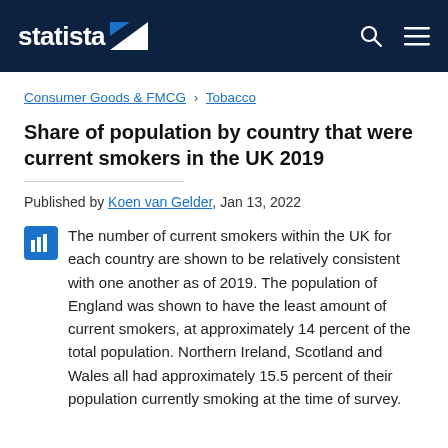statista
Consumer Goods & FMCG › Tobacco
Share of population by country that were current smokers in the UK 2019
Published by Koen van Gelder, Jan 13, 2022
The number of current smokers within the UK for each country are shown to be relatively consistent with one another as of 2019. The population of England was shown to have the least amount of current smokers, at approximately 14 percent of the total population. Northern Ireland, Scotland and Wales all had approximately 15.5 percent of their population currently smoking at the time of survey.